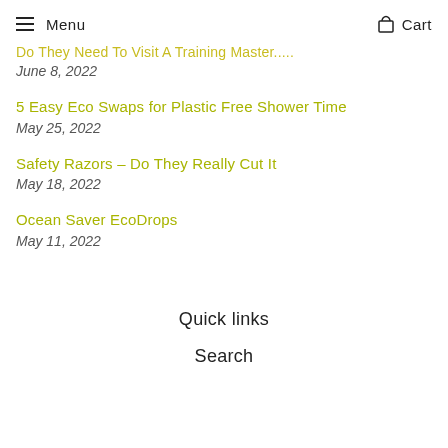Menu   Cart
Do They Need To Cut... [truncated link]
June 8, 2022
5 Easy Eco Swaps for Plastic Free Shower Time
May 25, 2022
Safety Razors – Do They Really Cut It
May 18, 2022
Ocean Saver EcoDrops
May 11, 2022
Quick links
Search